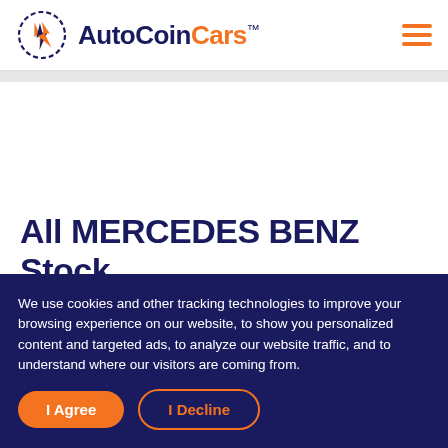[Figure (logo): AutoCoinCars logo with dashed circle icon and wordmark. 'AutoCoin' in dark navy blue, 'Cars' in orange, with TM superscript.]
All MERCEDES BENZ Stock
We use cookies and other tracking technologies to improve your browsing experience on our website, to show you personalized content and targeted ads, to analyze our website traffic, and to understand where our visitors are coming from.